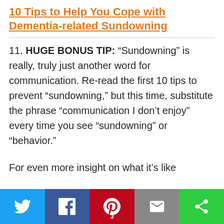10 Tips to Help You Cope with Dementia-related Sundowning
11. HUGE BONUS TIP: “Sundowning” is really, truly just another word for communication. Re-read the first 10 tips to prevent “sundowning,” but this time, substitute the phrase “communication I don’t enjoy” every time you see “sundowning” or “behavior.”
For even more insight on what it’s like